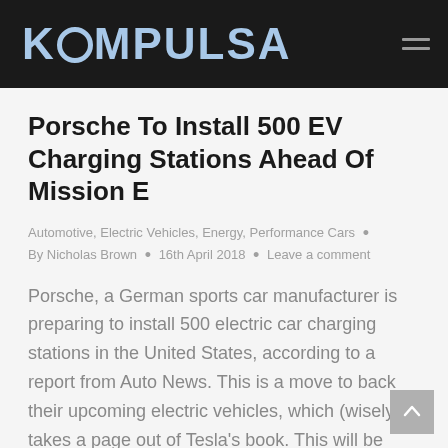KOMPULSA
Porsche To Install 500 EV Charging Stations Ahead Of Mission E
Automotive, Electric Vehicles, Energy, Performance Cars • By Nicholas Brown • 16th April 2018 • Leave a comment
Porsche, a German sports car manufacturer is preparing to install 500 electric car charging stations in the United States, according to a report from Auto News. This is a move to back their upcoming electric vehicles, which (wisely) takes a page out of Tesla's book. This will be done ahead of releasing the Porsche Mission…